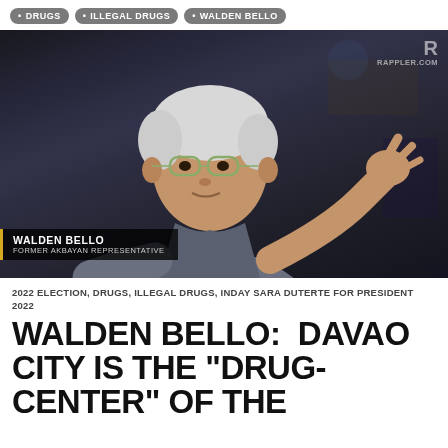• DRUGS
• ILLEGAL DRUGS
• WALDEN BELLO
[Figure (photo): Photo of Walden Bello, a grey-haired older man wearing glasses and a grey shirt, gesturing with his right hand, with a dark studio background. Lower-left overlay shows name bar: WALDEN BELLO / FORMER AKBAYAN REPRESENTATIVE. Top-right shows Rappler logo.]
2022 ELECTION, DRUGS, ILLEGAL DRUGS, INDAY SARA DUTERTE FOR PRESIDENT 2022
WALDEN BELLO:  DAVAO CITY IS THE “DRUG-CENTER” OF THE